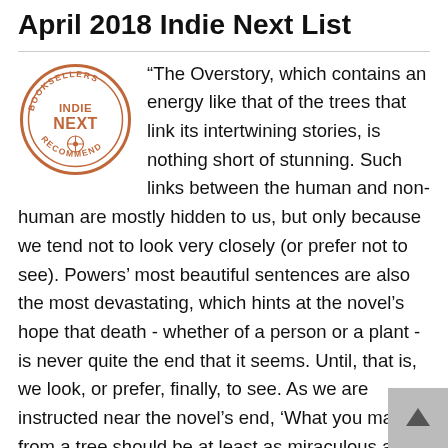April 2018 Indie Next List
[Figure (logo): Indie Next circular badge logo with text BOOKSELLERS INDIE NEXT RECOMMEND in orange/brown colors]
“The Overstory, which contains an energy like that of the trees that link its intertwining stories, is nothing short of stunning. Such links between the human and non-human are mostly hidden to us, but only because we tend not to look very closely (or prefer not to see). Powers’ most beautiful sentences are also the most devastating, which hints at the novel’s hope that death - whether of a person or a plant - is never quite the end that it seems. Until, that is, we look, or prefer, finally, to see. As we are instructed near the novel’s end, ‘What you make from a tree should be at least as miraculous as what you cut down.’ Plainly put: The Overstory is perhaps as close to such a miracle as we currently deserve.”